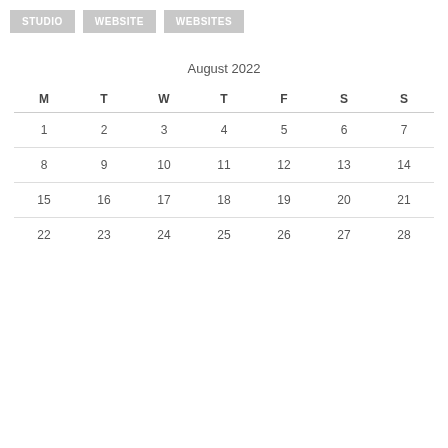[Figure (other): Three navigation buttons labeled STUDIO, WEBSITE, WEBSITES]
August 2022
| M | T | W | T | F | S | S |
| --- | --- | --- | --- | --- | --- | --- |
| 1 | 2 | 3 | 4 | 5 | 6 | 7 |
| 8 | 9 | 10 | 11 | 12 | 13 | 14 |
| 15 | 16 | 17 | 18 | 19 | 20 | 21 |
| 22 | 23 | 24 | 25 | 26 | 27 | 28 |